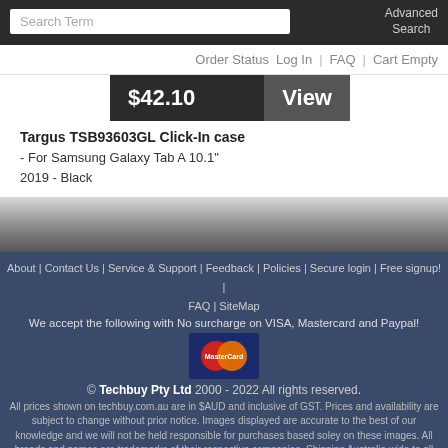Search Term | Advanced Search
Order Status | Log In | FAQ | Cart Empty
$42.10  View
Targus TSB93603GL Click-In case - For Samsung Galaxy Tab A 10.1" 2019 - Black
About | Contact Us | Service & Support | Feedback | Policies | Secure login | Free signup! | FAQ | SiteMap
We accept the following with No surcharge on VISA, Mastercard and Paypal!
[Figure (logo): MasterCard logo with overlapping red and orange circles]
© Techbuy Pty Ltd 2000 - 2022 All rights reserved.
All prices shown on techbuy.com.au are in $AUD and inclusive of GST. Prices and availability are subject to change without prior notice. Images displayed are accurate to the best of our knowledge and we will not be held responsible for purchases based soley on these images. All brands and names are trademarks of their respective companies. Shipping Australia wide to all metro and regional areas (Sydney, Melbourne, Brisbane, Adelaide, Perth) and Internationally. For more information, please see our usage policies.